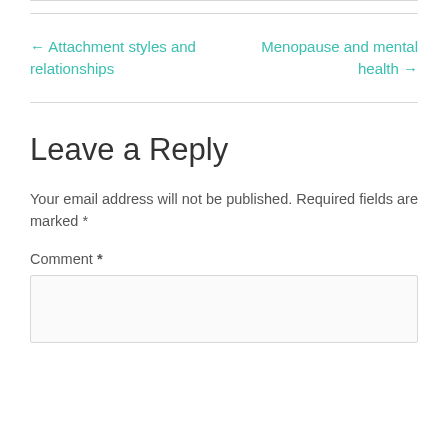← Attachment styles and relationships
Menopause and mental health →
Leave a Reply
Your email address will not be published. Required fields are marked *
Comment *